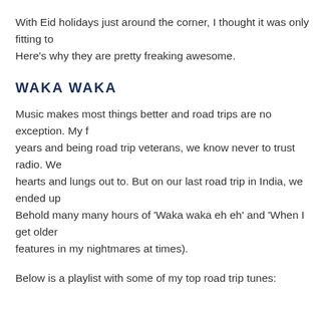With Eid holidays just around the corner, I thought it was only fitting to... Here's why they are pretty freaking awesome.
WAKA WAKA
Music makes most things better and road trips are no exception. My f... years and being road trip veterans, we know never to trust radio. We... hearts and lungs out to. But on our last road trip in India, we ended up... Behold many many hours of 'Waka waka eh eh' and 'When I get older... features in my nightmares at times).
Below is a playlist with some of my top road trip tunes: